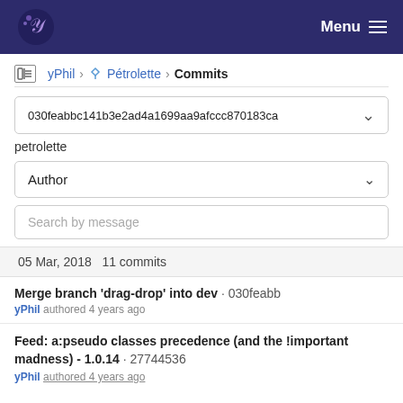Menu (navigation bar with logo)
yPhil › Pétrolette › Commits
030feabbc141b3e2ad4a1699aa9afccc870183ca
petrolette
Author
Search by message
05 Mar, 2018 11 commits
Merge branch 'drag-drop' into dev · 030feabb
yPhil authored 4 years ago
Feed: a:pseudo classes precedence (and the !important madness) - 1.0.14 · 27744536
yPhil authored 4 years ago